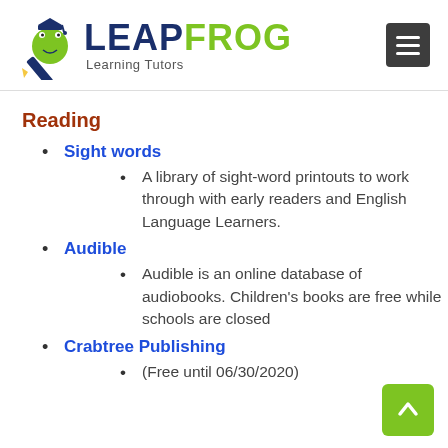[Figure (logo): LeapFrog Learning Tutors logo with frog mascot wearing graduation cap, dark blue and green color scheme]
Reading
Sight words
A library of sight-word printouts to work through with early readers and English Language Learners.
Audible
Audible is an online database of audiobooks. Children's books are free while schools are closed
Crabtree Publishing
(Free until 06/30/2020)